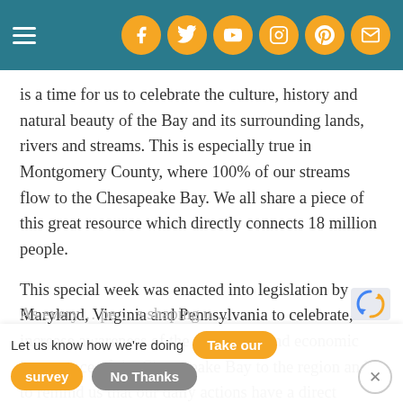Navigation bar with hamburger menu and social icons (Facebook, Twitter, YouTube, Instagram, Pinterest, Email)
is a time for us to celebrate the culture, history and natural beauty of the Bay and its surrounding lands, rivers and streams. This is especially true in Montgomery County, where 100% of our streams flow to the Chesapeake Bay. We all share a piece of this great resource which directly connects 18 million people.
This special week was enacted into legislation by Maryland, Virginia and Pennsylvania to celebrate, increase awareness of the ecological and economic importance of the Chesapeake Bay to the region and to remind us that our daily actions have a direct impact on the Bay.
As every... (partially obscured) ...s shaping u...
Let us know how we're doing  Take our survey  No Thanks